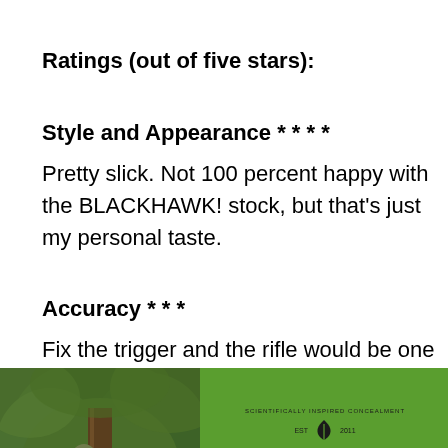Ratings (out of five stars):
Style and Appearance * * * *
Pretty slick. Not 100 percent happy with the BLACKHAWK! stock, but that’s just my personal taste.
Accuracy * * *
Fix the trigger and the rifle would be one of the more accurate offerings in this price range. As
[Figure (photo): Left: hunter in camouflage gear climbing a tree stand in a forest. Right: Veil Camo logo on green background with text 'SCIENTIFICALLY INSPIRED CONCEALMENT', 'VEIL', 'CAMO', 'WORKS LAOS']